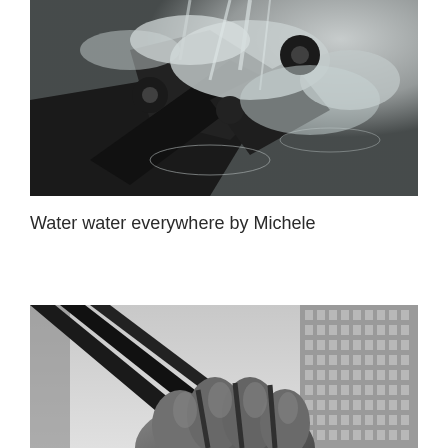[Figure (photo): Black and white photograph of a water fountain feature with cascading water over angular dark stone/metal blocks with spherical ball elements, water splashing dynamically]
Water water everywhere by Michele
[Figure (photo): Black and white photograph showing a large sculptural fist or hand with fingers curled, with tall urban buildings visible in the background through diagonal structural elements]